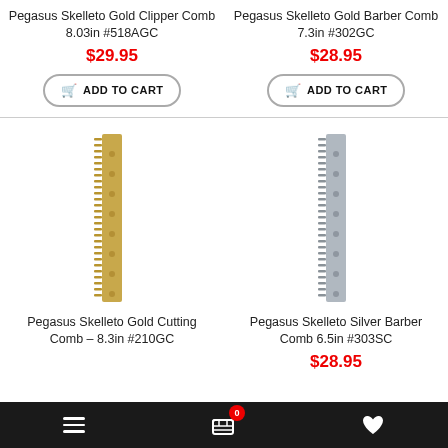Pegasus Skelleto Gold Clipper Comb 8.03in #518AGC
$29.95
ADD TO CART
Pegasus Skelleto Gold Barber Comb 7.3in #302GC
$28.95
ADD TO CART
[Figure (photo): Pegasus Skelleto Gold Cutting Comb 8.3in #210GC product image, gold colored comb shown vertically]
[Figure (photo): Pegasus Skelleto Silver Barber Comb 6.5in #303SC product image, silver colored comb shown vertically]
Pegasus Skelleto Gold Cutting Comb – 8.3in #210GC
Pegasus Skelleto Silver Barber Comb 6.5in #303SC
$28.95
Navigation bar with menu, cart (0), and favorites icons